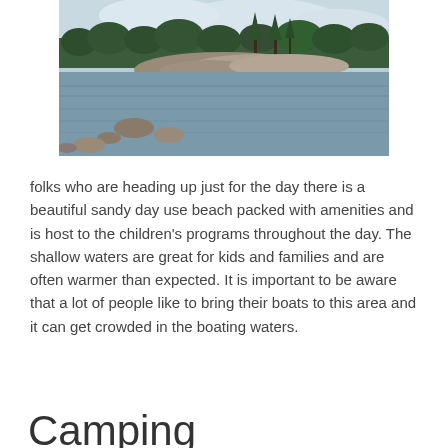[Figure (photo): A lakeside scene with rocky shoreline, trees including tall pines, calm water with small rocks visible near the shore, and a cloudy sky in the background.]
folks who are heading up just for the day there is a beautiful sandy day use beach packed with amenities and is host to the children's programs throughout the day. The shallow waters are great for kids and families and are often warmer than expected. It is important to be aware that a lot of people like to bring their boats to this area and it can get crowded in the boating waters.
Camping